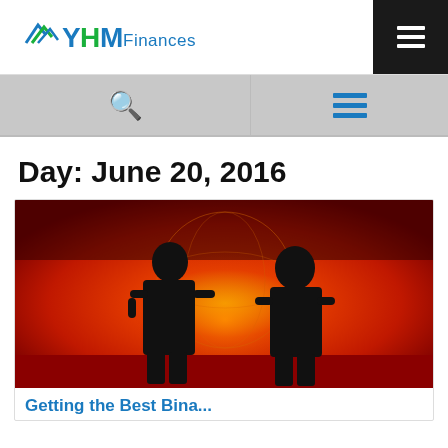YHM Finances
Day: June 20, 2016
[Figure (photo): Two silhouetted figures standing in front of a glowing world map background with red and orange gradient lighting]
Getting the Best Binary...